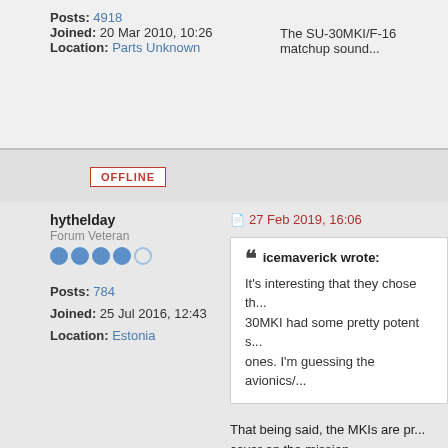Posts: 4918
Joined: 20 Mar 2010, 10:26
Location: Parts Unknown
The SU-30MKI/F-16 matchup sound...
OFFLINE
hythelday
Forum Veteran
27 Feb 2019, 16:06
Posts: 784
Joined: 25 Jul 2016, 12:43
Location: Estonia
icemaverick wrote:
It's interesting that they chose th... 30MKI had some pretty potent s... ones. I'm guessing the avionics/...
That being said, the MKIs are pr... cover on the mission.
Su-30MKI have Thales' Damocles T... many are left, can't find pics of Flank... considered better DCA/sweep platfo... and it looks like some of their aircre...